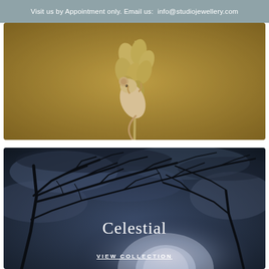Visit us by Appointment only. Email us:  info@studiojewellery.com
[Figure (photo): Close-up photograph of a harvest mouse clinging to a wheat stalk with grain heads, against a warm golden-brown background]
[Figure (photo): Dark atmospheric photograph of bare tree branches silhouetted against a moonlit cloudy night sky, with the text 'Celestial' and 'VIEW COLLECTION' overlaid in white]
Celestial
VIEW COLLECTION